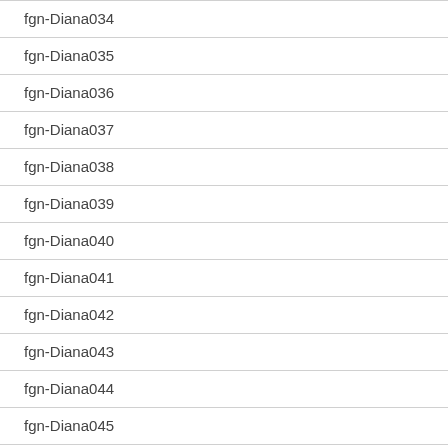fgn-Diana034
fgn-Diana035
fgn-Diana036
fgn-Diana037
fgn-Diana038
fgn-Diana039
fgn-Diana040
fgn-Diana041
fgn-Diana042
fgn-Diana043
fgn-Diana044
fgn-Diana045
fgn-Diana046
fgn-Diana047